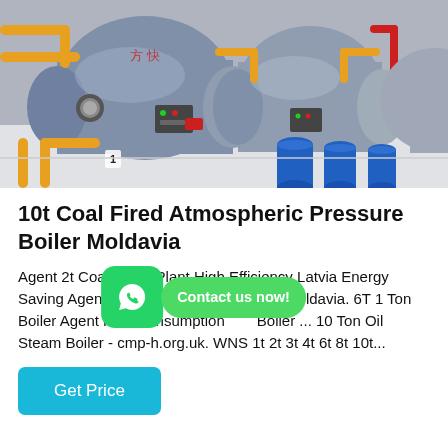[Figure (photo): Industrial boilers in a factory setting — large cylindrical pressure vessels with yellow and red pipes, blue barrels in background, control panels visible]
10t Coal Fired Atmospheric Pressure Boiler Moldavia
Agent 2t Coal Boiler Plant High Efficiency Latvia Energy Saving Agent 4t Biomass Fired Moldavia. 6T 1 Ton Boiler Agent Fuel Consumption Boiler ... 10 Ton Oil Steam Boiler - cmp-h.org.uk. WNS 1t 2t 3t 4t 6t 8t 10t...
[Figure (other): WhatsApp icon with green background and phone logo, next to a green 'Contact us now!' button]
Get Price